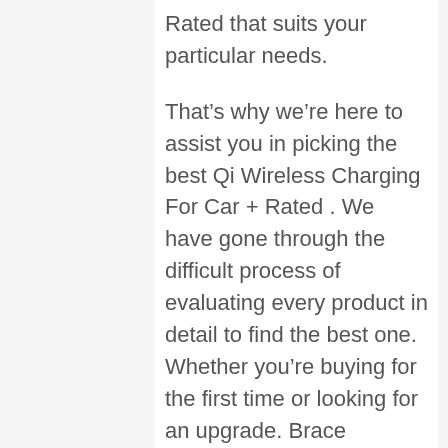Rated that suits your particular needs.
That’s why we’re here to assist you in picking the best Qi Wireless Charging For Car + Rated . We have gone through the difficult process of evaluating every product in detail to find the best one. Whether you’re buying for the first time or looking for an upgrade. Brace yourself for everything you need to know about buying the best product available.
So Without further ado, let’s jump right in!